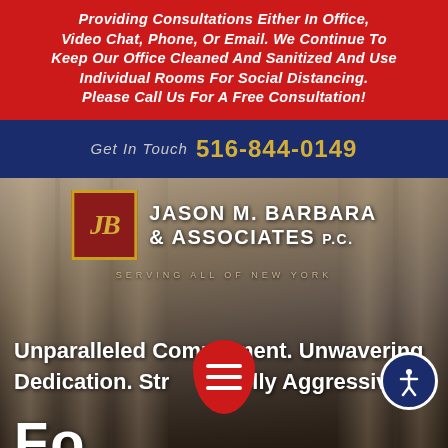providing consultations either In office, Video Chat, Phone, or Email. We continue to Keep our office Cleaned and Sanitized and use Individual rooms for Social distancing. Please call us for a free consultation!
Get In Touch 516-844-0149
[Figure (logo): JB logo box with Jason M. Barbara & Associates P.C. firm name and 'Serving All of New York' tagline, overlaid on architectural columns background]
Unparalleled Commitment. Unwavering Dedication. Str lly Aggressiv